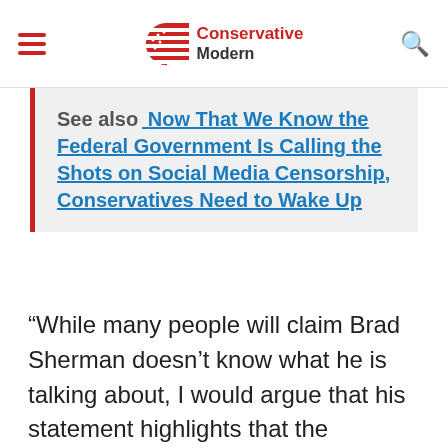Conservative Modern
See also  Now That We Know the Federal Government Is Calling the Shots on Social Media Censorship, Conservatives Need to Wake Up
“While many people will claim Brad Sherman doesn’t know what he is talking about, I would argue that his statement highlights that the Congressman knows exactly what is happening,” Pompliano wrote in a blog post. “He sees the increased probability that we are moving to a world where non-sovereign currencies